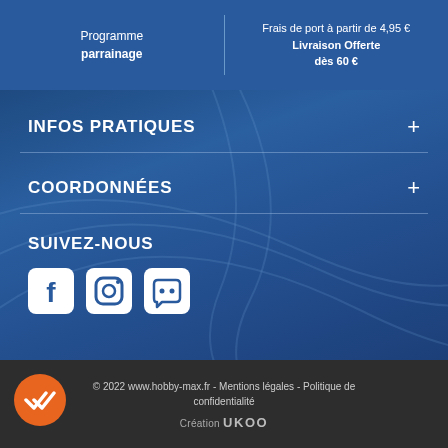Programme parrainage
Frais de port à partir de 4,95 € - Livraison Offerte dès 60 €
INFOS PRATIQUES
COORDONNÉES
SUIVEZ-NOUS
[Figure (other): Social media icons: Facebook, Instagram, Discord]
© 2022 www.hobby-max.fr - Mentions légales - Politique de confidentialité
Création UKOO